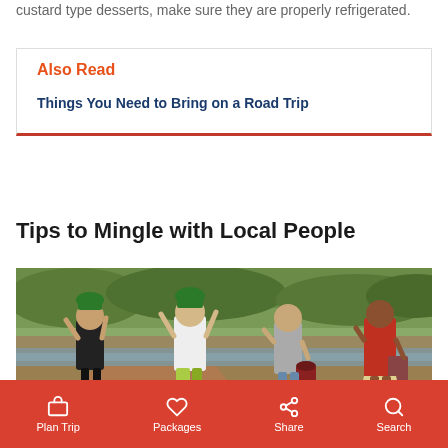custard type desserts, make sure they are properly refrigerated.
Also Read
Things You Need to Bring on a Road Trip
Tips to Mingle with Local People
[Figure (photo): Four people near a river, three women balancing green buckets on their heads and one woman in a red top, outdoor scene with greenery and muddy water in the background.]
Plan Trip  Packages  Share  Search